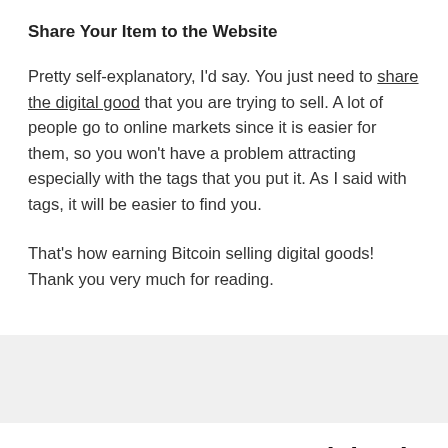Share Your Item to the Website
Pretty self-explanatory, I'd say. You just need to share the digital good that you are trying to sell. A lot of people go to online markets since it is easier for them, so you won't have a problem attracting especially with the tags that you put it. As I said with tags, it will be easier to find you.
That's how earning Bitcoin selling digital goods! Thank you very much for reading.
Payment Gateway Explained